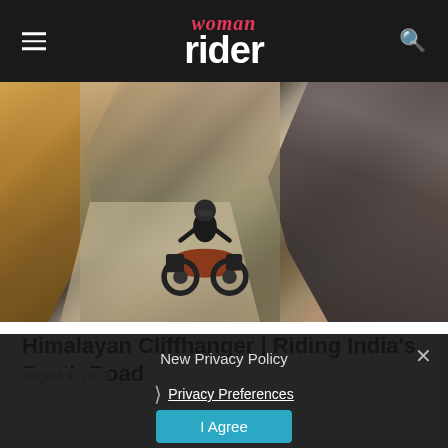woman rider
[Figure (photo): Motorcycle rider on a narrow rocky mountain road carved into a cliff face in the Himalayas, India]
Himalayan Cliffhanger | Riding India's Death Road
August 9, 2022
New Privacy Policy
Privacy Preferences
I Agree